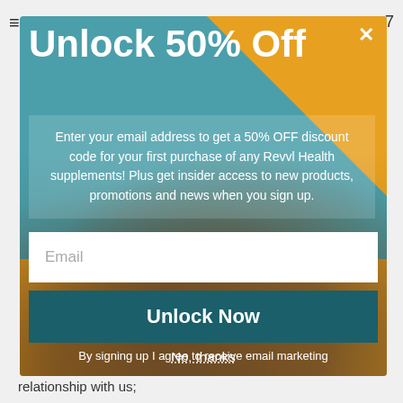Unlock 50% Off
Enter your email address to get a 50% OFF discount code for your first purchase of any Revvl Health supplements! Plus get insider access to new products, promotions and news when you sign up.
Email
Unlock Now
By signing up I agree to receive email marketing
No, thanks
relationship with us;